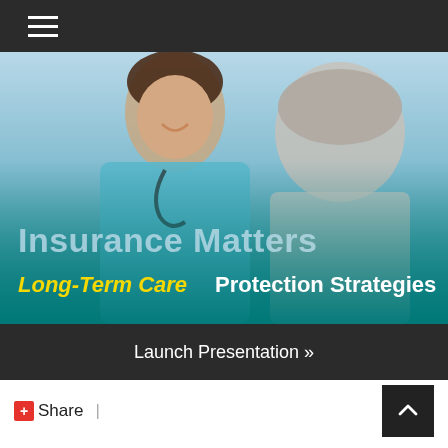Navigation menu
[Figure (photo): Hero banner image showing a smiling female healthcare professional in scrubs with stethoscope talking to an elderly patient with grey hair, with teal gradient overlay at the bottom. Text overlay reads 'Insurance Matters' and 'Long-Term Care Protection Strategies'.]
Launch Presentation »
+ Share |
Have A Question About This Topic?